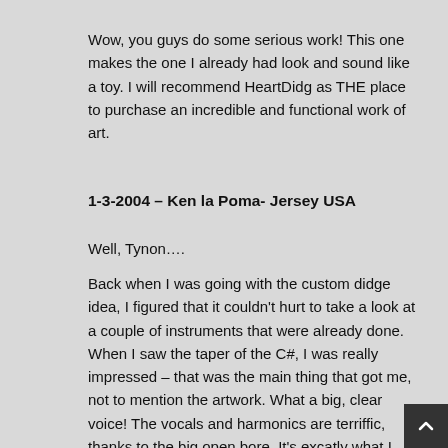Wow, you guys do some serious work! This one makes the one I already had look and sound like a toy. I will recommend HeartDidg as THE place to purchase an incredible and functional work of art.
1-3-2004 – Ken la Poma- Jersey USA
Well, Tynon….
Back when I was going with the custom didge idea, I figured that it couldn't hurt to take a look at a couple of instruments that were already done. When I saw the taper of the C#, I was really impressed – that was the main thing that got me, not to mention the artwork. What a big, clear voice! The vocals and harmonics are terriffic, thanks to the big open bore. It's excatly what I was hoping for, and everything you said it would be. I just made one change to it, though. I painted a pair of sunglasses on the old fella to make him look like Djalu Gurruwiwi. No I didn't!